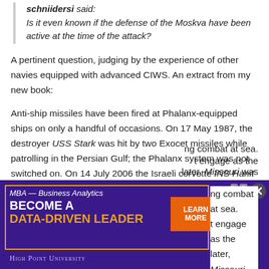schniidersi said:
Is it even known if the defense of the Moskva have been active at the time of the attack?
A pertinent question, judging by the experience of other navies equipped with advanced CIWS. An extract from my new book:
Anti-ship missiles have been fired at Phalanx-equipped ships on only a handful of occasions. On 17 May 1987, the destroyer USS Stark was hit by two Exocet missiles while patrolling in the Persian Gulf; the Phalanx system was not switched on. On 14 July 2006 the Israeli corvette INS Hanit was hit by a missile. Again, the Phalanx system was not switched on. In February 1991 during the Persian Gulf War an Iraqi Silkworm missile was fired at the battleship USS Missouri, which was being escorted by HMS London and HMS Gloucester (both Type 42 destroyers carrying Sea Dart). The missile was destroyed by a Sea Dart fired from Gloucester, the first time
[Figure (screenshot): Advertisement banner for High Point University MBA Business Analytics program with purple background, orange border, and orange Learn More button]